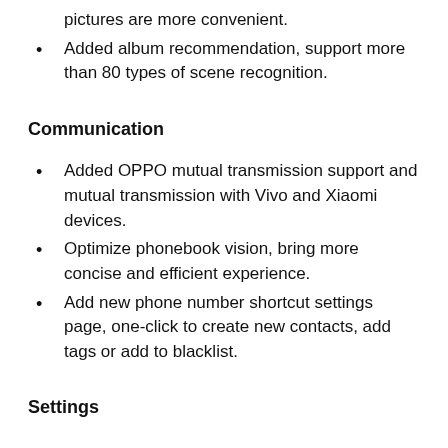pictures are more convenient.
Added album recommendation, support more than 80 types of scene recognition.
Communication
Added OPPO mutual transmission support and mutual transmission with Vivo and Xiaomi devices.
Optimize phonebook vision, bring more concise and efficient experience.
Add new phone number shortcut settings page, one-click to create new contacts, add tags or add to blacklist.
Settings